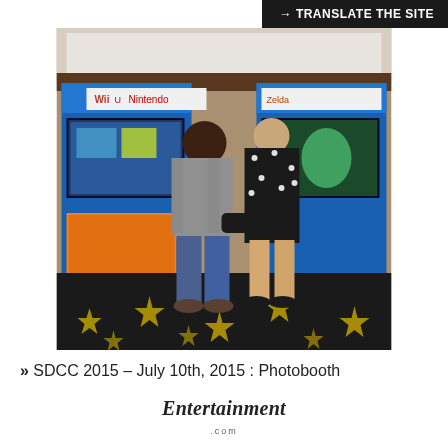→ TRANSLATE THE SITE
[Figure (photo): Two people standing with their backs to the camera in front of Wii U Nintendo gaming kiosks at what appears to be SDCC 2015. One person wearing a grey shirt and jeans, another in a black dress. The floor has a black carpet with gold stars. Nintendo and Zelda signage visible.]
» SDCC 2015 – July 10th, 2015 : Photobooth
Entertainment .com